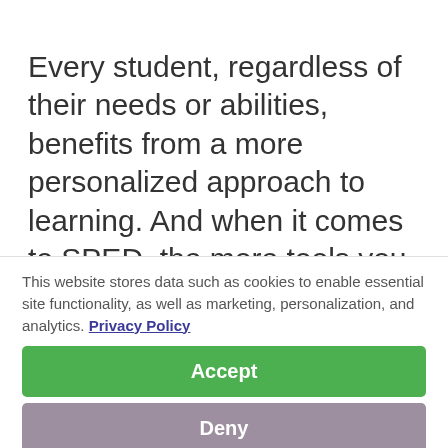Every student, regardless of their needs or abilities, benefits from a more personalized approach to learning. And when it comes to SPED, the more tools you have at your disposal to better personalize a student's learning experience, the better the outcome. For more information...
This website stores data such as cookies to enable essential site functionality, as well as marketing, personalization, and analytics. Privacy Policy
Accept
Deny